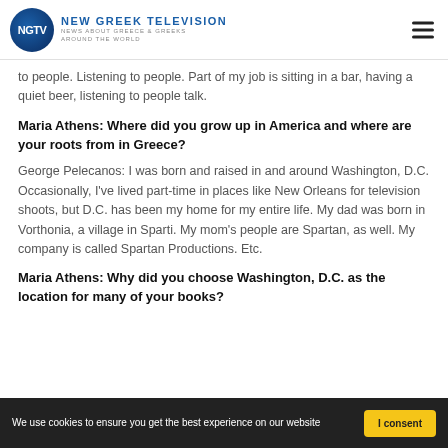NEW GREEK TELEVISION — NEWS ABOUT GREECE & GREEKS AROUND THE WORLD
to people. Listening to people. Part of my job is sitting in a bar, having a quiet beer, listening to people talk.
Maria Athens: Where did you grow up in America and where are your roots from in Greece?
George Pelecanos: I was born and raised in and around Washington, D.C. Occasionally, I've lived part-time in places like New Orleans for television shoots, but D.C. has been my home for my entire life. My dad was born in Vorthonia, a village in Sparti. My mom's people are Spartan, as well. My company is called Spartan Productions. Etc.
Maria Athens: Why did you choose Washington, D.C. as the location for many of your books?
We use cookies to ensure you get the best experience on our website